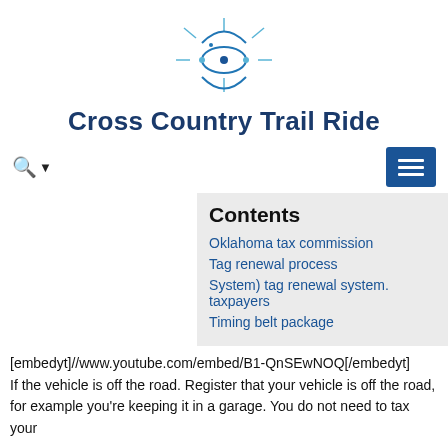[Figure (logo): Cross Country Trail Ride logo: abstract star/atom shape in blue tones]
Cross Country Trail Ride
[Figure (other): Navigation bar with search button (magnifying glass + dropdown) on left and blue hamburger menu button on right]
Contents
Oklahoma tax commission
Tag renewal process
System) tag renewal system. taxpayers
Timing belt package
[embedyt]//www.youtube.com/embed/B1-QnSEwNOQ[/embedyt]
If the vehicle is off the road. Register that your vehicle is off the road, for example you're keeping it in a garage. You do not need to tax your